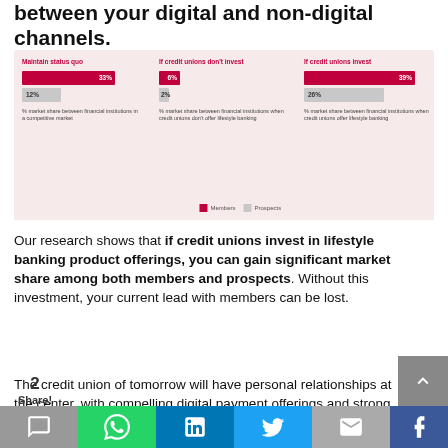between your digital and non-digital channels.
[Figure (bar-chart): Market share between financial institutions]
Our research shows that if credit unions invest in lifestyle banking product offerings, you can gain significant market share among both members and prospects. Without this investment, your current lead with members can be lost.
The credit union of tomorrow will have personal relationships at the center, with compelling digital payment offerings and strong data security and protection protocols built in. To maintain your primary financial